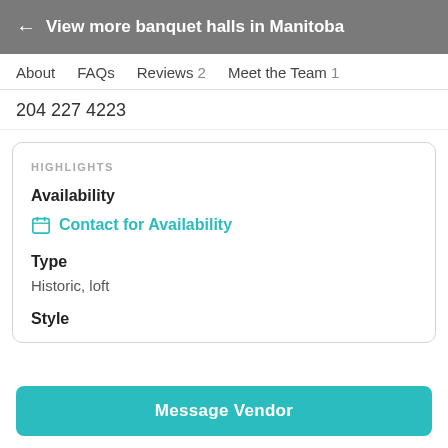← View more banquet halls in Manitoba
About  FAQs  Reviews 2  Meet the Team 1
204 227 4223
HIGHLIGHTS
Availability
Contact for Availability
Type
Historic, loft
Style
Message Vendor